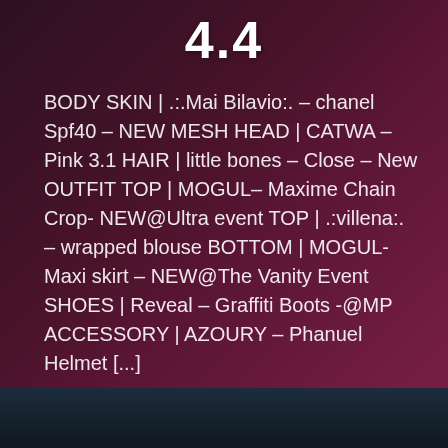4.4
BODY SKIN | .:.Mai Bilavio:. – chanel Spf40 – NEW MESH HEAD | CATWA – Pink 3.1 HAIR | little bones – Close – New OUTFIT TOP | MOGUL– Maxime Chain Crop- NEW@Ultra event TOP | .:villena:. – wrapped blouse BOTTOM | MOGUL- Maxi skirt – NEW@The Vanity Event SHOES | Reveal – Graffiti Boots -@MP ACCESSORY | AZOURY – Phanuel Helmet [...]
Read More
[Figure (photo): Virtual avatar female character wearing stylized outfit with dark background featuring pink/magenta tones, lower portion shows dark teal scene]